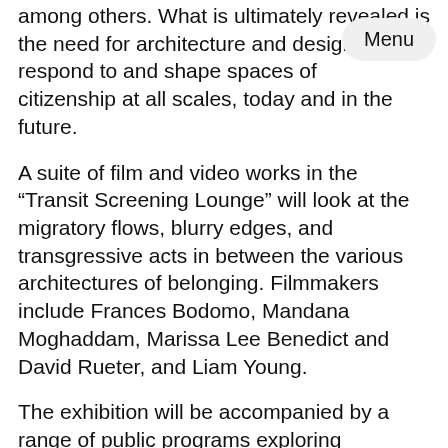among others. What is ultimately revealed is the need for architecture and design to respond to and shape spaces of citizenship at all scales, today and in the future.
A suite of film and video works in the “Transit Screening Lounge” will look at the migratory flows, blurry edges, and transgressive acts in between the various architectures of belonging. Filmmakers include Frances Bodomo, Mandana Moghaddam, Marissa Lee Benedict and David Rueter, and Liam Young.
The exhibition will be accompanied by a range of public programs exploring citizenship and belonging, including talks, performances, workshops, and engagement with local partners.